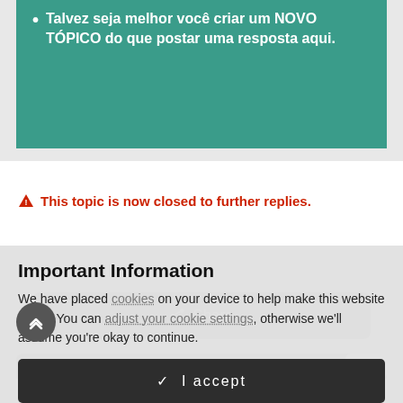Talvez seja melhor você criar um NOVO TÓPICO do que postar uma resposta aqui.
This topic is now closed to further replies.
[Figure (screenshot): Share button (gray rounded rectangle)]
Important Information
We have placed cookies on your device to help make this website better. You can adjust your cookie settings, otherwise we'll assume you're okay to continue.
✓ I accept